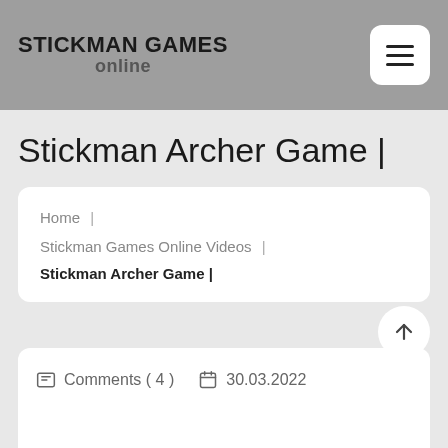STICKMAN GAMES online
Stickman Archer Game |
Home | Stickman Games Online Videos | Stickman Archer Game |
Comments ( 4 )   30.03.2022